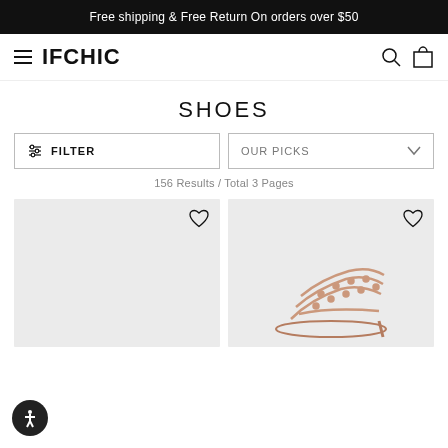Free shipping & Free Return On orders over $50
IFCHIC
SHOES
FILTER
OUR PICKS
156 Results / Total 3 Pages
[Figure (photo): Product card with light gray background and heart icon, left product]
[Figure (photo): Product card showing rose gold sandal/shoe with studs, with heart icon, right product]